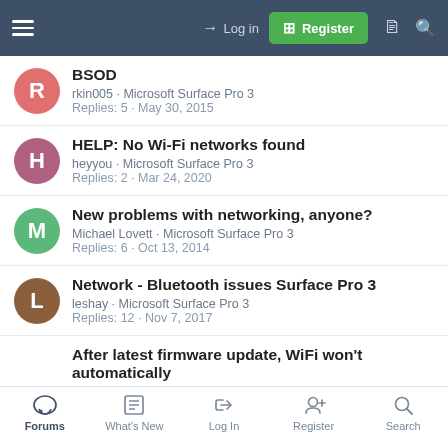Navigation bar with Login and Register buttons
BSOD
rkin005 · Microsoft Surface Pro 3
Replies: 5 · May 30, 2015
HELP: No Wi-Fi networks found
heyyou · Microsoft Surface Pro 3
Replies: 2 · Mar 24, 2020
New problems with networking, anyone?
Michael Lovett · Microsoft Surface Pro 3
Replies: 6 · Oct 13, 2014
Network - Bluetooth issues Surface Pro 3
leshay · Microsoft Surface Pro 3
Replies: 12 · Nov 7, 2017
After latest firmware update, WiFi won't automatically
Forums | What's New | Log In | Register | Search